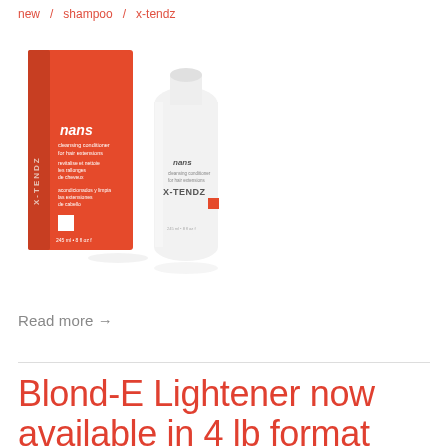new  /  shampoo  /  x-tendz
[Figure (photo): X-TENDZ nans cleansing conditioner for hair extensions product shot: orange box with white text on left, white bottle with orange X-TENDZ branding on right, 245ml / 8 fl oz]
Read more →
Blond-E Lightener now available in 4 lb format